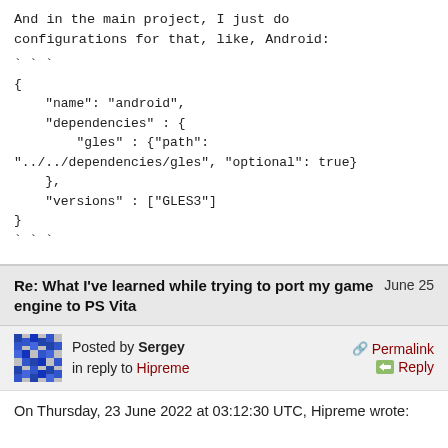And in the main project, I just do configurations for that, like, Android:
```
{
    "name": "android",
    "dependencies" : {
        "gles" : {"path":
"../../dependencies/gles", "optional": true}
    },
    "versions" : ["GLES3"]
}
```
Re: What I've learned while trying to port my game engine to PS Vita
June 25
Posted by Sergey in reply to Hipreme
Permalink
Reply
On Thursday, 23 June 2022 at 03:12:30 UTC, Hipreme wrote: